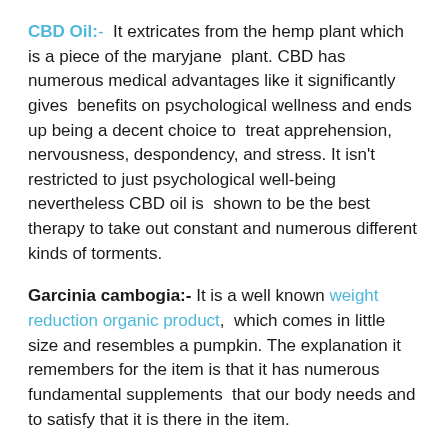CBD Oil:- It extricates from the hemp plant which is a piece of the maryjane plant. CBD has numerous medical advantages like it significantly gives benefits on psychological wellness and ends up being a decent choice to treat apprehension, nervousness, despondency, and stress. It isn't restricted to just psychological well-being nevertheless CBD oil is shown to be the best therapy to take out constant and numerous different kinds of torments.
Garcinia cambogia:- It is a well known weight reduction organic product, which comes in little size and resembles a pumpkin. The explanation it remembers for the item is that it has numerous fundamental supplements that our body needs and to satisfy that it is there in the item.
Caffeine anhydride:- It is comprised of the seed and plants of the espresso plant. It is